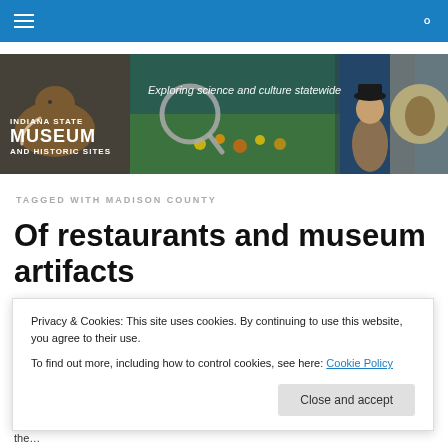Navigation bar with hamburger menu and search icon
[Figure (illustration): Indiana State Museum and Historic Sites banner with text 'Exploring science and culture statewide', showing a mammoth, magnifying glass over garden, a costumed figure, and a fossil]
TAGGED WITH MADISON COUNTY
Of restaurants and museum artifacts
Privacy & Cookies: This site uses cookies. By continuing to use this website, you agree to their use.
To find out more, including how to control cookies, see here: Cookie Policy
Close and accept
the...